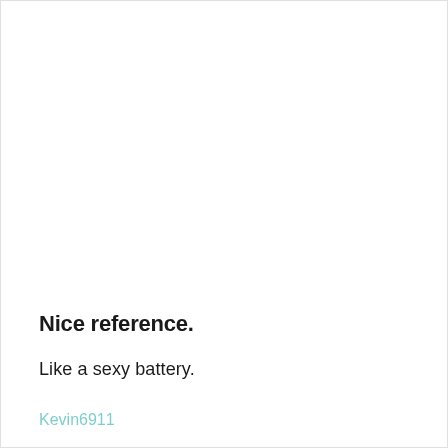Nice reference.
Like a sexy battery.
Kevin6911